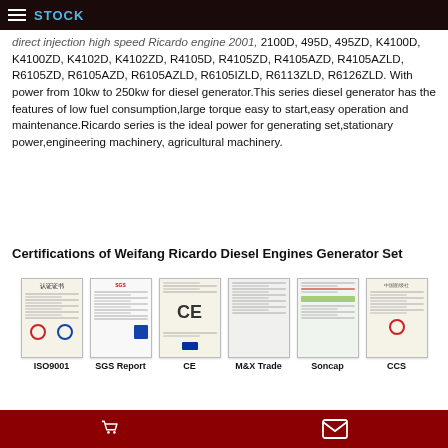STOCK
direct injection high speed Ricardo engine 2001, 2100D, 495D, 495ZD, K4100D, K4100ZD, K4102D, K4102ZD, R4105D, R4105ZD, R4105AZD, R4105AZLD, R6105ZD, R6105AZD, R6105AZLD, R6105IZLD, R6113ZLD, R6126ZLD. With power from 10kw to 250kw for diesel generator.This series diesel generator has the features of low fuel consumption,large torque easy to start,easy operation and maintenance.Ricardo series is the ideal power for generating set,stationary power,engineering machinery, agricultural machinery.
Certifications of Weifang Ricardo Diesel Engines Generator Set
[Figure (other): Six certification badges/documents: ISO9001, SGS Report, CE, M&X Trade, Soncap, CCS]
ISO9001   SGS Report   CE   M&X Trade   Soncap   CCS